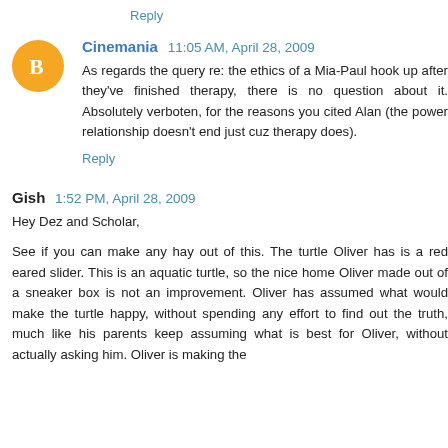Reply
Cinemania  11:05 AM, April 28, 2009
As regards the query re: the ethics of a Mia-Paul hook up after they've finished therapy, there is no question about it. Absolutely verboten, for the reasons you cited Alan (the power relationship doesn't end just cuz therapy does).
Reply
Gish  1:52 PM, April 28, 2009
Hey Dez and Scholar,
See if you can make any hay out of this. The turtle Oliver has is a red eared slider. This is an aquatic turtle, so the nice home Oliver made out of a sneaker box is not an improvement. Oliver has assumed what would make the turtle happy, without spending any effort to find out the truth, much like his parents keep assuming what is best for Oliver, without actually asking him. Oliver is making the